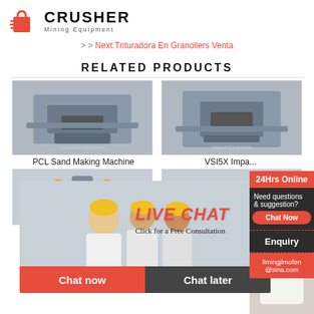[Figure (logo): Crusher Mining Equipment logo with red shopping bag icon and bold CRUSHER text]
>> Next:Trituradora En Granollers Venta
RELATED PRODUCTS
[Figure (photo): PCL Sand Making Machine industrial equipment photo]
PCL Sand Making Machine
[Figure (photo): VSI5X Impact crusher industrial equipment photo]
VSI5X Impa...
[Figure (photo): Industrial mill equipment photo bottom left]
[Figure (photo): Industrial crusher equipment photo bottom right]
[Figure (screenshot): Live Chat popup overlay with workers background, Chat now and Chat later buttons]
[Figure (infographic): Sidebar with 24Hrs Online, Need questions & suggestion, Chat Now, Enquiry, limingjlmofen@sina.com]